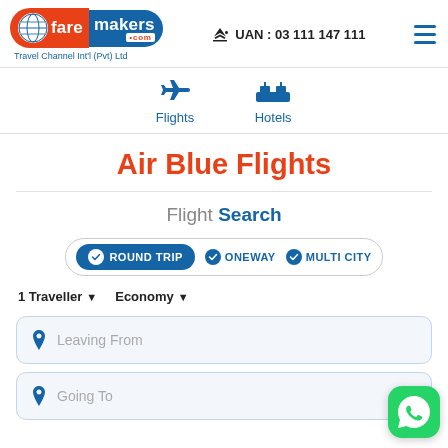[Figure (logo): Faremakers.com logo with orange globe icon and blue text, tagline: Travel Channel Int'l (Pvt) Ltd]
UAN : 03 111 147 111
Flights
Hotels
Air Blue Flights
Flight Search
ROUND TRIP   ONEWAY   MULTI CITY
1 Traveller   Economy
Leaving From
Going To